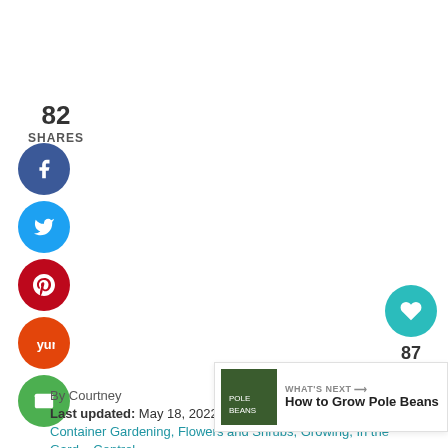82
SHARES
[Figure (infographic): Social media share buttons: Facebook (blue circle), Twitter (cyan circle), Pinterest (red circle), Yummly (orange circle), Email (green circle)]
[Figure (infographic): Floating right sidebar with heart/like button showing 87 likes and a share button]
By Courtney
Last updated: May 18, 2022
Container Gardening, Flowers and Shrubs, Growing, In the Gard... Control
[Figure (infographic): What's Next banner showing thumbnail image and link to 'How to Grow Pole Beans']